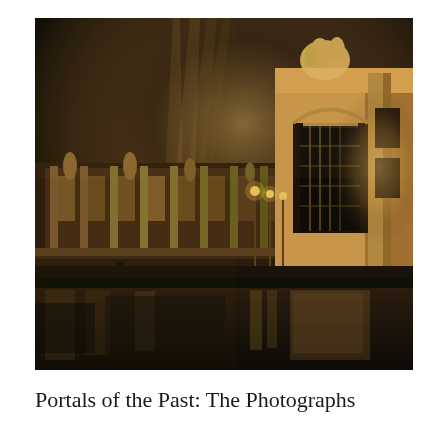[Figure (photo): A sepia-toned historical photograph showing an illuminated grand architectural structure at night, likely a world's fair or exposition. The scene features a large ornate arch/triumphal gate on the right side, a colonnaded building with statues in the center-left, and dramatic searchlight beams rising into the foggy sky. The foreground shows a reflective body of water or wet pavement with reflections of the lights.]
Portals of the Past: The Photographs